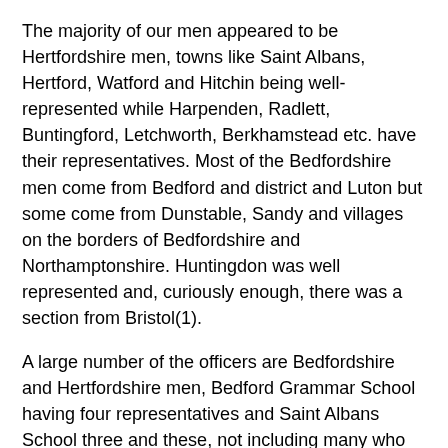The majority of our men appeared to be Hertfordshire men, towns like Saint Albans, Hertford, Watford and Hitchin being well-represented while Harpenden, Radlett, Buntingford, Letchworth, Berkhamstead etc. have their representatives. Most of the Bedfordshire men come from Bedford and district and Luton but some come from Dunstable, Sandy and villages on the borders of Bedfordshire and Northamptonshire. Huntingdon was well represented and, curiously enough, there was a section from Bristol(1).
A large number of the officers are Bedfordshire and Hertfordshire men, Bedford Grammar School having four representatives and Saint Albans School three and these, not including many who live in the counties, but who were educated outside.
Four officers have been killed – Captain J A Tennant (a nephew of Mr Asquith), Lieutenant J T Adair, Lieutenant W A Leland and Second Lieutenant F C Casswell (who lost his life in the “Royal Edward” Transport)(2). Others from the Battalion have gone to take their places, to carry on the good work they have begun, and to maintain the glorious